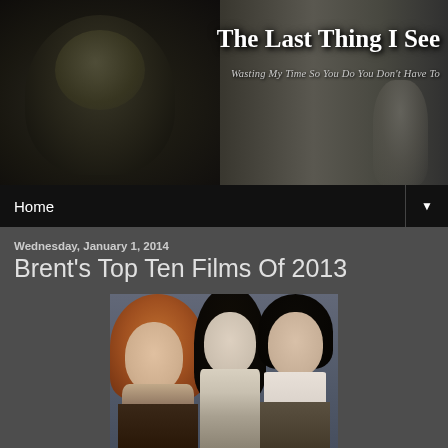[Figure (photo): Blog header banner with a hooded dark figure on the left and a secondary figure on the right, dark cinematic style]
The Last Thing I See
Wasting My Time So You Do You Don't Have To
Home
Wednesday, January 1, 2014
Brent's Top Ten Films Of 2013
[Figure (photo): Three actors posing: a blonde/red-haired woman on the left, a dark-haired woman in the center, and a dark-haired man on the right, styled in period/gothic clothing]